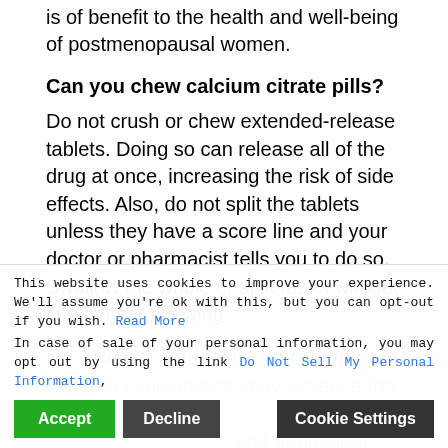is of benefit to the health and well-being of postmenopausal women.
Can you chew calcium citrate pills?
Do not crush or chew extended-release tablets. Doing so can release all of the drug at once, increasing the risk of side effects. Also, do not split the tablets unless they have a score line and your doctor or pharmacist tells you to do so. Swallow the whole or split tablet without crushing or chewing.
Do calcium pills make you poop?
Calcium supplements may increase the incidence of ... and abdominal pain. It highlights that calcium carbonate is more often associated with gastrointestinal side effects, including constipation, flatulence, and bloating...
Cookie banner: This website uses cookies to improve your experience. We'll assume you're ok with this, but you can opt-out if you wish. Read More. In case of sale of your personal information, you may opt out by using the link Do Not Sell My Personal Information. [Accept] [Decline] [Cookie Settings]